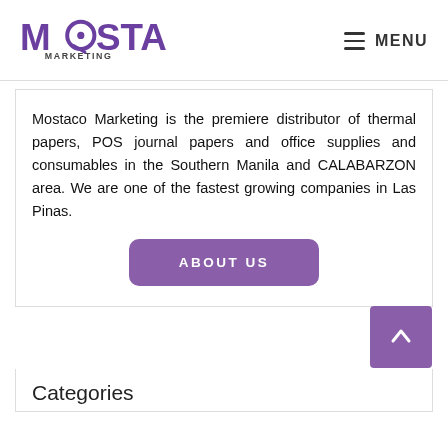MOSTACO MARKETING  ≡ MENU
Mostaco Marketing is the premiere distributor of thermal papers, POS journal papers and office supplies and consumables in the Southern Manila and CALABARZON area. We are one of the fastest growing companies in Las Pinas.
ABOUT US
Categories